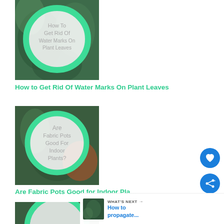[Figure (photo): Plant photo with green ring overlay and text 'How To Get Rid Of Water Marks On Plant Leaves' inside a white circle]
How to Get Rid Of Water Marks On Plant Leaves
[Figure (photo): Plant photo with green ring overlay and text 'Are Fabric Pots Good For Indoor Plants?' inside a white circle]
Are Fabric Pots Good for Indoor Pla…
[Figure (photo): Partial plant photo with green ring overlay and text 'how to' partially visible at bottom of page]
WHAT'S NEXT → How to propagate...